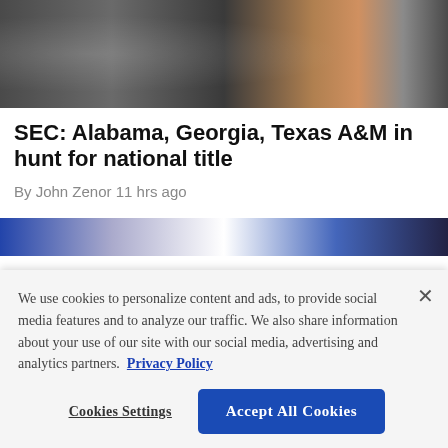[Figure (photo): Sports photo showing people on a field, including a person in a dark polo shirt, a woman with a camera, and others celebrating or gesturing]
SEC: Alabama, Georgia, Texas A&M in hunt for national title
By John Zenor 11 hrs ago
[Figure (photo): Partial sports photo with blue tones, partially obscured by cookie consent overlay]
We use cookies to personalize content and ads, to provide social media features and to analyze our traffic. We also share information about your use of our site with our social media, advertising and analytics partners. Privacy Policy
Cookies Settings
Accept All Cookies